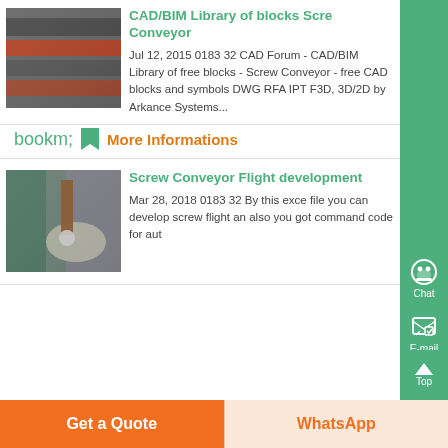[Figure (photo): Industrial screw conveyor belts/panels stacked, dark metal surfaces]
CAD/BIM Library of blocks Screw Conveyor
Jul 12, 2015 0183 32 CAD Forum - CAD/BIM Library of free blocks - Screw Conveyor - free CAD blocks and symbols DWG RFA IPT F3D, 3D/2D by Arkance Systems...
More Informations
[Figure (photo): Industrial milling/drilling machine working on a metal plate]
Screw Conveyor Flight development
Mar 28, 2018 0183 32 By this excel file you can develop screw flight and also you get command code for aut